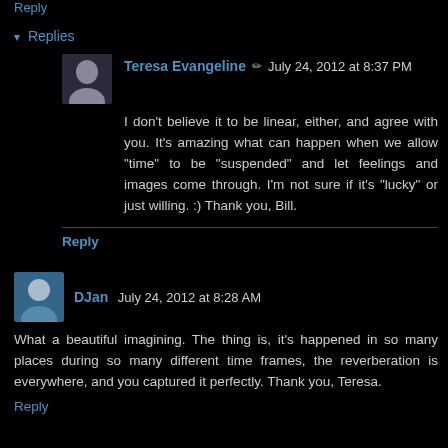Reply
▾ Replies
Teresa Evangeline ✏ July 24, 2012 at 8:37 PM
I don't believe it to be linear, either, and agree with you. It's amazing what can happen when we allow "time" to be "suspended" and let feelings and images come through. I'm not sure if it's "lucky" or just willing. :) Thank you, Bill.
Reply
DJan July 24, 2012 at 8:28 AM
What a beautiful imagining. The thing is, it's happened in so many places during so many different time frames, the reverberation is everywhere, and you captured it perfectly. Thank you, Teresa.
Reply